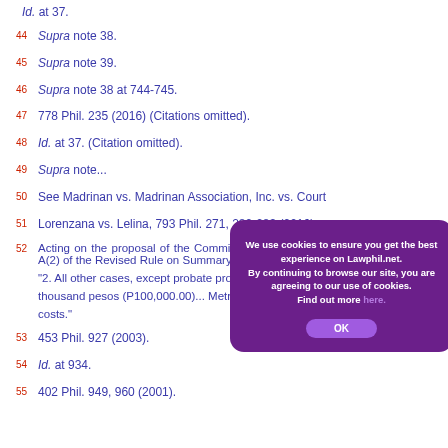Id. at 37.
44 Supra note 38.
45 Supra note 39.
46 Supra note 38 at 744-745.
47 778 Phil. 235 (2016) (Citations omitted).
48 Id. at 37. (Citation omitted).
49 Supra note...
50 See Madrinan vs. Madrinan Association, Inc. vs. Court
51 Lorenzana vs. Lelina, 793 Phil. 271, 282-283 (2016).
52 Acting on the proposal of the Committee on the Revision, AMEND Section 1. A(2) of the Revised Rule on Summary Procedure: "2. All other cases, except probate proceedings, where the claims do not exceed one hundred thousand pesos (P100,000.00) exclusive of interest, damages, attorney's fees, litigation expenses, and costs in Metropolitan Manila, exclusive of interest and costs."
53 453 Phil. 927 (2003).
54 Id. at 934.
55 402 Phil. 949, 960 (2001).